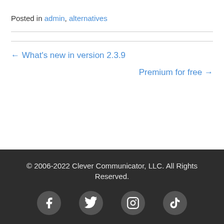Posted in admin, alternatives
← What's new in version 2.3.9
Premium for free →
© 2006-2022 Clever Communicator, LLC. All Rights Reserved.